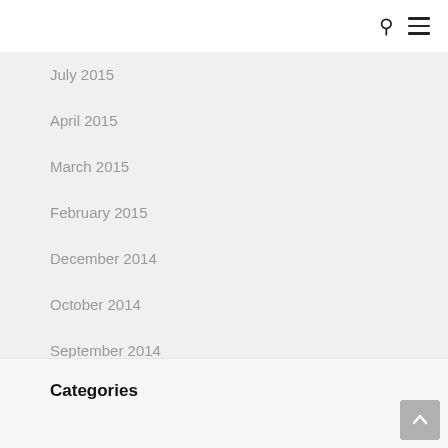July 2015
April 2015
March 2015
February 2015
December 2014
October 2014
September 2014
July 2014
May 2014
Categories